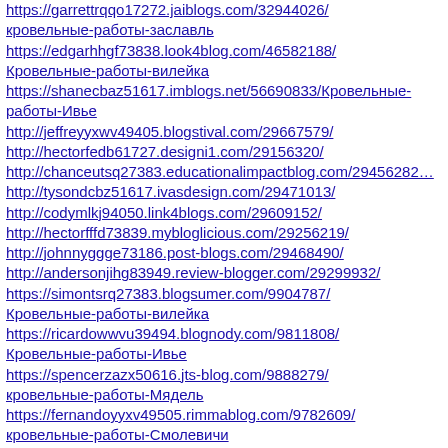https://garrettrqqo17272.jaiblogs.com/32944026/кровельные-работы-заславль
https://edgarhhgf73838.look4blog.com/46582188/Кровельные-работы-вилейка
https://shanecbaz51617.imblogs.net/56690833/Кровельные-работы-Ивье
http://jeffreyyxwv49405.blogstival.com/29667579/
http://hectorfedb61727.designi1.com/29156320/
http://chanceutsq27383.educationalimpactblog.com/29456282
http://tysondcbz51617.ivasdesign.com/29471013/
http://codymlkj94050.link4blogs.com/29609152/
http://hectorfffd73839.mybloglicious.com/29256219/
http://johnnyggge73186.post-blogs.com/29468490/
http://andersonjihg83949.review-blogger.com/29299932/
https://simontsrq27383.blogsumer.com/9904787/Кровельные-работы-вилейка
https://ricardowwvu39494.blognody.com/9811808/Кровельные-работы-Ивье
https://spencerzazx50616.jts-blog.com/9888279/кровельные-работы-Мядель
https://fernandoyyxv49505.rimmablog.com/9782609/кровельные-работы-Смолевичи
https://lukasppom05161.bloggazza.com/9776914/Кровельные-работы-Минский-район
https://dallasdcba61727.blogaritma.com/9887116/